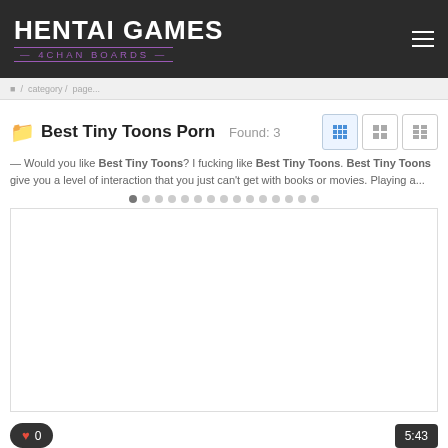HENTAI GAMES 4CHAN BOARDS
Best Tiny Toons Porn   Found: 3
— Would you like Best Tiny Toons? I fucking like Best Tiny Toons. Best Tiny Toons give you a level of interaction that you just can't get with books or movies. Playing a...
[Figure (screenshot): White blank image area with dot pagination indicators above it, heart/count badge bottom-left, duration badge bottom-right showing 5:43]